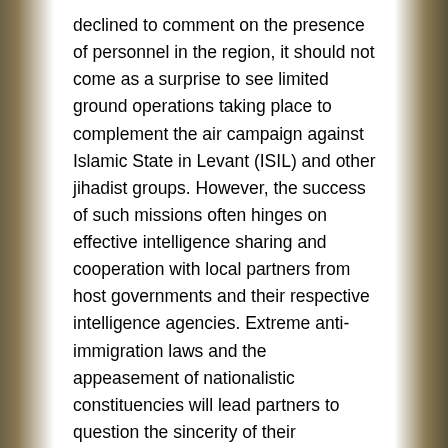declined to comment on the presence of personnel in the region, it should not come as a surprise to see limited ground operations taking place to complement the air campaign against Islamic State in Levant (ISIL) and other jihadist groups. However, the success of such missions often hinges on effective intelligence sharing and cooperation with local partners from host governments and their respective intelligence agencies. Extreme anti-immigration laws and the appeasement of nationalistic constituencies will lead partners to question the sincerity of their cooperation and the sustainability of their relationships with the United Kingdom.
On a more basic level, soldiers may also depend on translators and guides, who put themselves and their